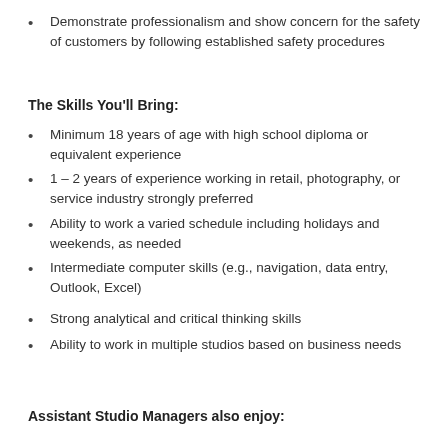Demonstrate professionalism and show concern for the safety of customers by following established safety procedures
The Skills You'll Bring:
Minimum 18 years of age with high school diploma or equivalent experience
1 – 2 years of experience working in retail, photography, or service industry strongly preferred
Ability to work a varied schedule including holidays and weekends, as needed
Intermediate computer skills (e.g., navigation, data entry, Outlook, Excel)
Strong analytical and critical thinking skills
Ability to work in multiple studios based on business needs
Assistant Studio Managers also enjoy: